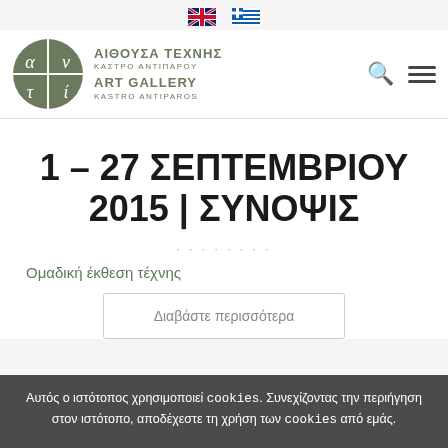[Figure (logo): UK flag and Greek flag icons for language selection]
[Figure (logo): Art Gallery Kastro Antiparos circular logo with Greek letters alpha, nu, tau, iota]
1 – 27 ΣΕΠΤΕΜΒΡΙΟΥ 2015 | ΣΥΝΟΨΙΣ
Ομαδική έκθεση τέχνης
Διαβάστε περισσότερα
Αυτός ο ιστότοπος χρησιμοποιεί cookies. Συνεχίζοντας την περιήγηση στον ιστότοπο, αποδέχεστε τη χρήση των cookies από εμάς.